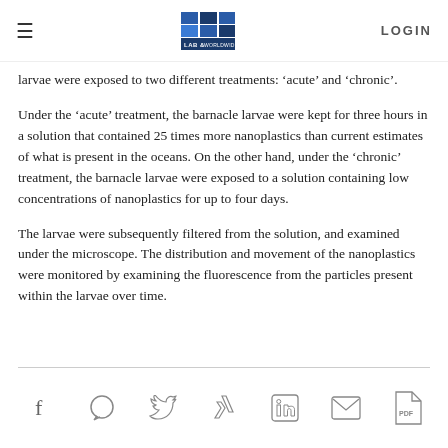LAB & WORLDWIDE  LOGIN
larvae were exposed to two different treatments: 'acute' and 'chronic'.
Under the 'acute' treatment, the barnacle larvae were kept for three hours in a solution that contained 25 times more nanoplastics than current estimates of what is present in the oceans. On the other hand, under the 'chronic' treatment, the barnacle larvae were exposed to a solution containing low concentrations of nanoplastics for up to four days.
The larvae were subsequently filtered from the solution, and examined under the microscope. The distribution and movement of the nanoplastics were monitored by examining the fluorescence from the particles present within the larvae over time.
Social share icons: Facebook, WhatsApp, Twitter, Xing, LinkedIn, Email, PDF